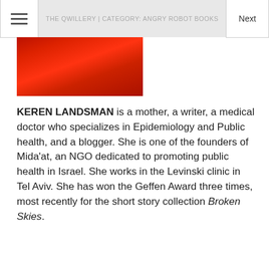THE QWILLERY | CATEGORY: ANGRY ROBOT BOOKS
[Figure (photo): Partial photo of a person wearing red clothing, cropped at top of page]
KEREN LANDSMAN is a mother, a writer, a medical doctor who specializes in Epidemiology and Public health, and a blogger. She is one of the founders of Mida'at, an NGO dedicated to promoting public health in Israel. She works in the Levinski clinic in Tel Aviv. She has won the Geffen Award three times, most recently for the short story collection Broken Skies.